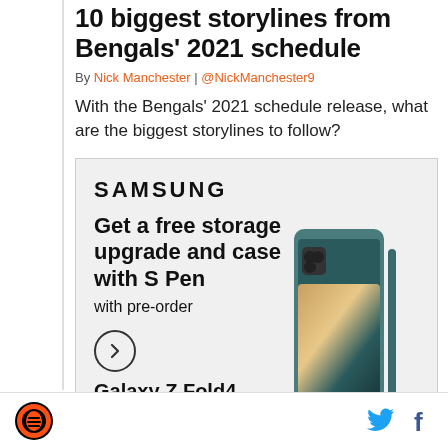10 biggest storylines from Bengals' 2021 schedule
By Nick Manchester | @NickManchester9
With the Bengals' 2021 schedule release, what are the biggest storylines to follow?
[Figure (other): Samsung Galaxy Z Fold4 advertisement. Text: SAMSUNG. Get a free storage upgrade and case with S Pen with pre-order. Arrow button. Galaxy Z Fold4. See terms and conditions. S Pen compatible only with Galaxy Z Fold4 main display. Image of the Galaxy Z Fold4 phone with S Pen.]
Bengals logo | Twitter icon | Facebook icon